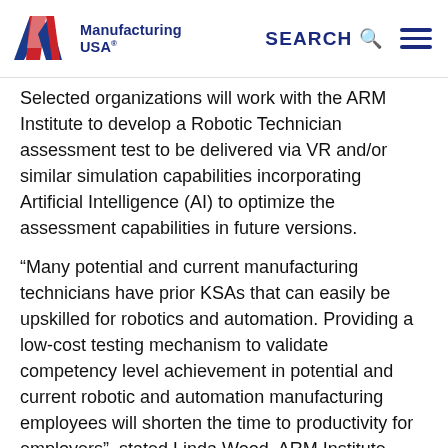Manufacturing USA | SEARCH
Selected organizations will work with the ARM Institute to develop a Robotic Technician assessment test to be delivered via VR and/or similar simulation capabilities incorporating Artificial Intelligence (AI) to optimize the assessment capabilities in future versions.
“Many potential and current manufacturing technicians have prior KSAs that can easily be upskilled for robotics and automation. Providing a low-cost testing mechanism to validate competency level achievement in potential and current robotic and automation manufacturing employees will shorten the time to productivity for employers”, stated Linda Wood, ARM Institute Senior Certification Manager. “I am excited by the caliber of